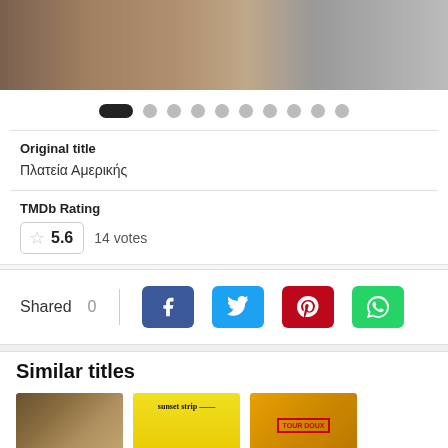[Figure (photo): Partial photo strip of a person with tattoos and black-and-white background images]
[Figure (other): Pagination dots row: one active black pill followed by nine gray circles]
Original title
Πλατεία Αμερικής
TMDb Rating
5.6   14 votes
Shared  0
Similar titles
[Figure (photo): Three movie thumbnail images: western/cowboy film, Sunset Strip book/film cover, and a red/yellow styled cover]